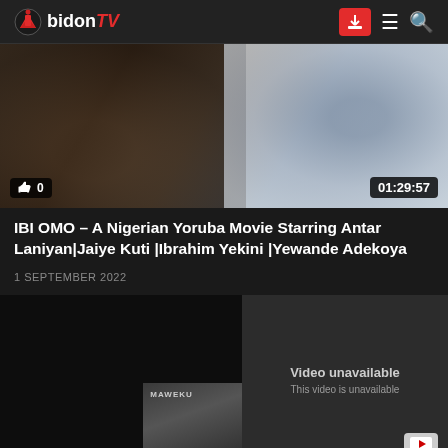AbidonTV
[Figure (screenshot): Thumbnail image of a Nigerian Yoruba movie showing people, with a like counter badge showing 0 and a duration badge showing 01:29:57]
IBI OMO – A Nigerian Yoruba Movie Starring Antar Laniyan|Jaiye Kuti |Ibrahim Yekini |Yewande Adekoya
1 SEPTEMBER 2022
[Figure (screenshot): Embedded video player showing a dark screen with a mini thumbnail labelled MAWEKU, an X close button, and a 'Video unavailable / This video is unavailable' error message with YouTube logo]